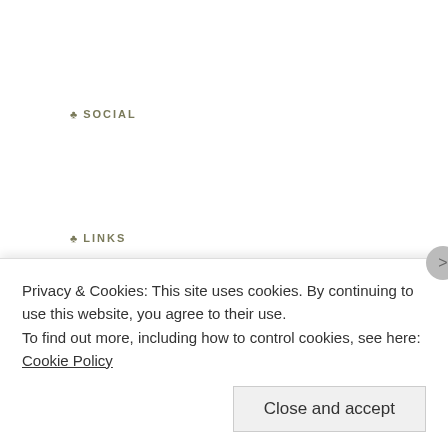SOCIAL
LINKS
[Figure (infographic): Row of social media icon buttons: Twitter (blue), Pinterest (red), Facebook (blue), Instagram (black), Email (gray)]
FOLLOW BLOG VIA EMAIL
Enter your email address to follow this blog and receive notifications of new posts by email.
Follow
Join 91 other followers
Privacy & Cookies: This site uses cookies. By continuing to use this website, you agree to their use.
To find out more, including how to control cookies, see here: Cookie Policy
Close and accept